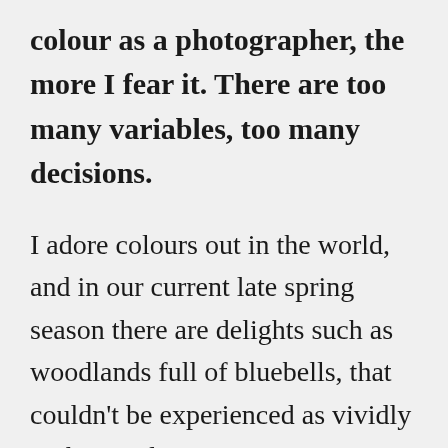colour as a photographer, the more I fear it. There are too many variables, too many decisions.
I adore colours out in the world, and in our current late spring season there are delights such as woodlands full of bluebells, that couldn't be experienced as vividly without colour.